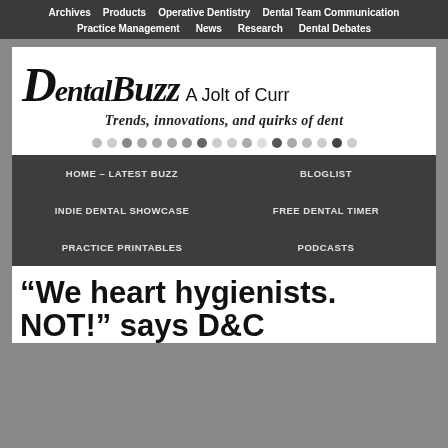Archives | Products | Operative Dentistry | Dental Team Communication | Practice Management | News | Research | Dental Debates
[Figure (logo): DentalBuzz logo with script/decorative font reading 'DentalBuzz A Jolt of Curr' and subtitle 'Trends, innovations, and quirks of dent', followed by a row of navigation dots]
HOME – LATEST BUZZ | BLOGLIST | INDIE DENTAL SHOWCASE | FREE DENTAL TIMER | PRACTICE PRINTABLES | PODCASTS
“We heart hygienists. NOT!” says D&C